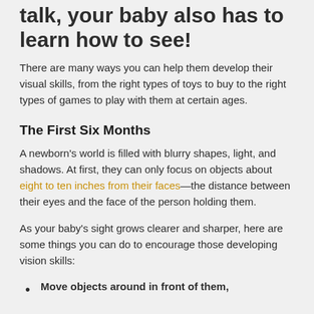talk, your baby also has to learn how to see!
There are many ways you can help them develop their visual skills, from the right types of toys to buy to the right types of games to play with them at certain ages.
The First Six Months
A newborn's world is filled with blurry shapes, light, and shadows. At first, they can only focus on objects about eight to ten inches from their faces—the distance between their eyes and the face of the person holding them.
As your baby's sight grows clearer and sharper, here are some things you can do to encourage those developing vision skills:
Move objects around in front of them,